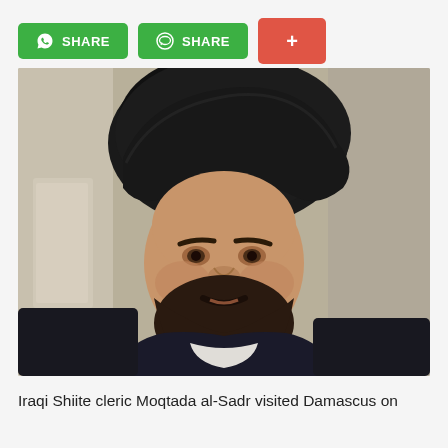[Figure (other): Three social sharing buttons: two green buttons labeled SHARE (WhatsApp and LINE icons), and one red/orange plus button]
[Figure (photo): Close-up photo of Iraqi Shiite cleric Moqtada al-Sadr wearing a black turban and dark robe, looking directly at the camera with a serious expression]
Iraqi Shiite cleric Moqtada al-Sadr visited Damascus on